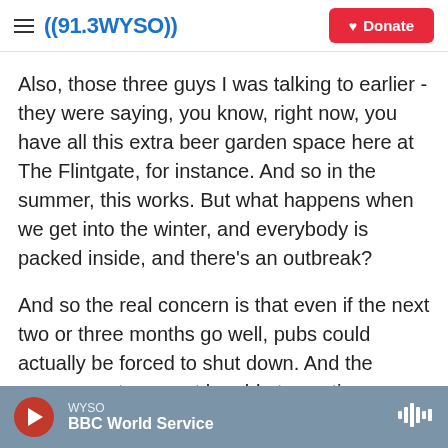((91.3 WYSO)) | Donate
Also, those three guys I was talking to earlier - they were saying, you know, right now, you have all this extra beer garden space here at The Flintgate, for instance. And so in the summer, this works. But what happens when we get into the winter, and everybody is packed inside, and there's an outbreak?
And so the real concern is that even if the next two or three months go well, pubs could actually be forced to shut down. And the government may not be able to continue - probably can't continue to pay
WYSO | BBC World Service